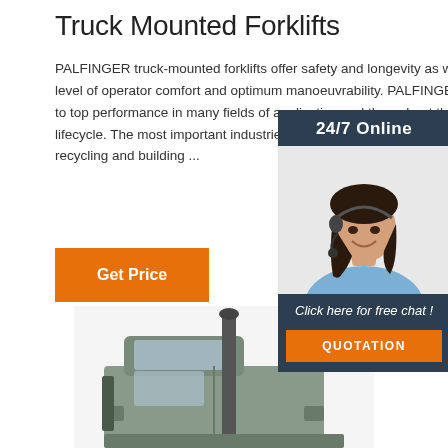Truck Mounted Forklifts
PALFINGER truck-mounted forklifts offer safety and longevity as well as a high level of operator comfort and optimum manoeuvrability. PALFINGER is committed to top performance in many fields of application and throughout the entire product lifecycle. The most important industries include: transport and beverage logistics, recycling and building ...
[Figure (other): Chat widget with agent photo, '24/7 Online' banner, 'Click here for free chat!' text, and QUOTATION button]
[Figure (other): Get Price orange button]
[Figure (photo): Truck mounted forklift vehicle, bottom portion visible showing cab and mast]